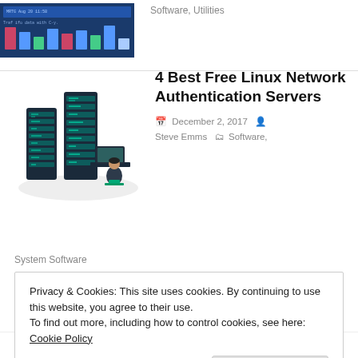[Figure (screenshot): Screenshot of a network monitoring tool with blue background and colored bars]
Software, Utilities
[Figure (illustration): Isometric illustration of server racks and a person working at a computer]
4 Best Free Linux Network Authentication Servers
December 2, 2017  Steve Emms  Software, System Software
Privacy & Cookies: This site uses cookies. By continuing to use this website, you agree to their use.
To find out more, including how to control cookies, see here: Cookie Policy
Close and accept
Steve Emms  CLI, Internet,